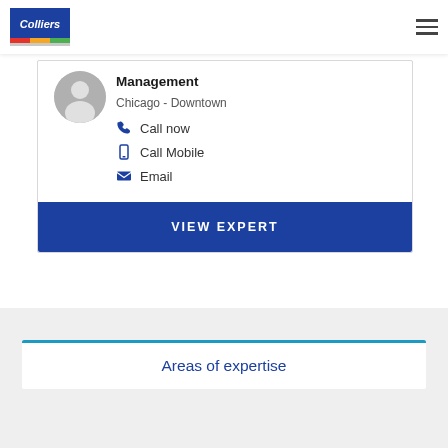Colliers
Management
Chicago - Downtown
Call now
Call Mobile
Email
VIEW EXPERT
Areas of expertise